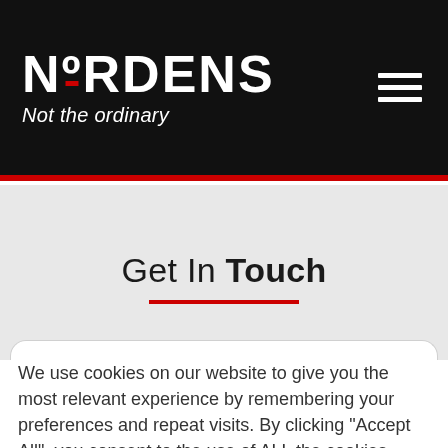NORDENS Not the ordinary
Get In Touch
We use cookies on our website to give you the most relevant experience by remembering your preferences and repeat visits. By clicking "Accept All", you consent to the use of ALL the cookies. However, you may visit "Cookie Settings" to provide a controlled consent.
Cookie Settings | Accept All